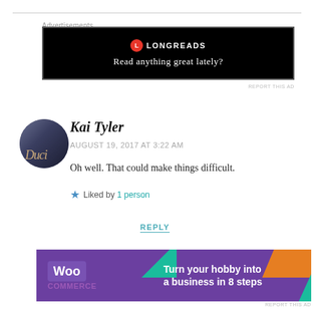Advertisements
[Figure (other): Longreads advertisement banner with black background, red circular logo, and text 'Read anything great lately?']
REPORT THIS AD
[Figure (photo): Circular avatar of commenter Kai Tyler, showing a dark book cover image]
Kai Tyler
AUGUST 19, 2017 AT 3:22 AM
Oh well. That could make things difficult.
Liked by 1 person
REPLY
Advertisements
[Figure (other): WooCommerce advertisement banner with purple background, WooCommerce logo, colorful geometric shapes, and text 'Turn your hobby into a business in 8 steps']
REPORT THIS AD